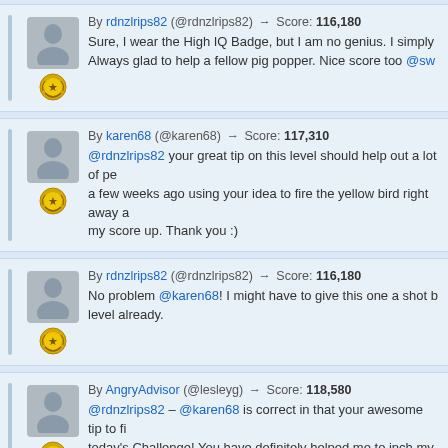By rdnzlrips82 (@rdnzlrips82) → Score: 116,180
Sure, I wear the High IQ Badge, but I am no genius. I simply Always glad to help a fellow pig popper. Nice score too @sw
By karen68 (@karen68) → Score: 117,310
@rdnzlrips82 your great tip on this level should help out a lot of pe a few weeks ago using your idea to fire the yellow bird right away a my score up. Thank you :)
By rdnzlrips82 (@rdnzlrips82) → Score: 116,180
No problem @karen68! I might have to give this one a shot b level already.
By AngryAdvisor (@lesleyg) → Score: 118,580
@rdnzlrips82 – @karen68 is correct in that your awesome tip to fi today's Challenge! You have definitely helped me to inch my score 111K+, then 113K+ and now I'm up to 117220 – Yippie!!!
I also used @e-star tip in bumping off the wooden triangle with Re